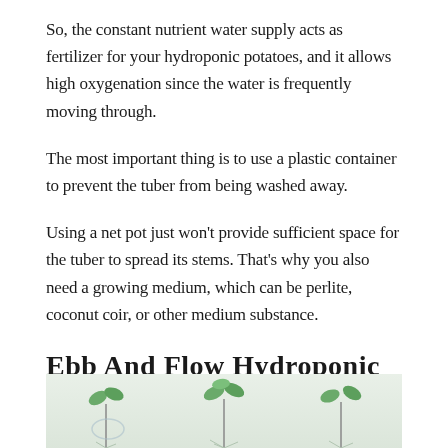So, the constant nutrient water supply acts as fertilizer for your hydroponic potatoes, and it allows high oxygenation since the water is frequently moving through.
The most important thing is to use a plastic container to prevent the tuber from being washed away.
Using a net pot just won't provide sufficient space for the tuber to spread its stems. That's why you also need a growing medium, which can be perlite, coconut coir, or other medium substance.
Ebb And Flow Hydroponic System
[Figure (photo): Photo of young plant seedlings with roots visible, on a light grey background, showing hydroponic plants with green leaves and exposed root systems.]